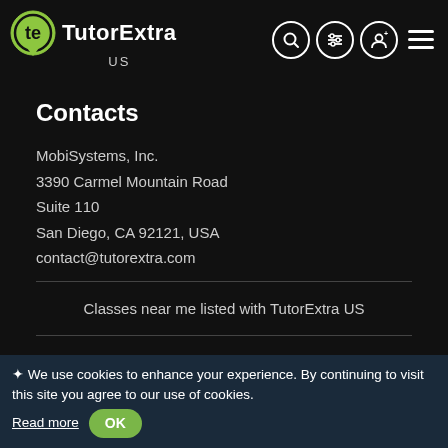[Figure (logo): TutorExtra US logo with green TE icon and white text, plus navigation icons (search, filter, user, hamburger menu)]
Contacts
MobiSystems, Inc.
3390 Carmel Mountain Road
Suite 110
San Diego, CA 92121, USA
contact@tutorextra.com
Classes near me listed with TutorExtra US
[Figure (illustration): Facebook and Android icons in green]
Copyright © TutorExtra, 2022
✿ We use cookies to enhance your experience. By continuing to visit this site you agree to our use of cookies. Read more OK